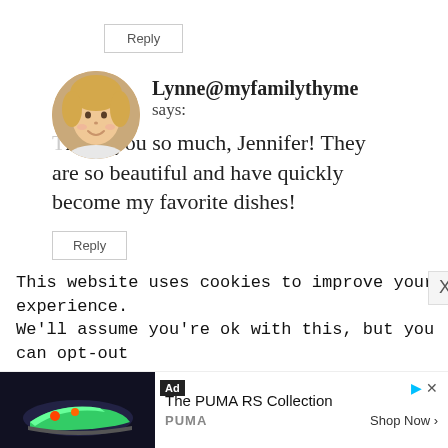Reply
[Figure (photo): Circular avatar photo of a blonde woman smiling]
Lynne@myfamilythyme says:
Thank you so much, Jennifer! They are so beautiful and have quickly become my favorite dishes!
Reply
This website uses cookies to improve your experience. We'll assume you're ok with this, but you can opt-out
[Figure (screenshot): Ad banner for PUMA RS Collection showing a sneaker image, Ad label, play and close controls, brand name PUMA, and Shop Now button]